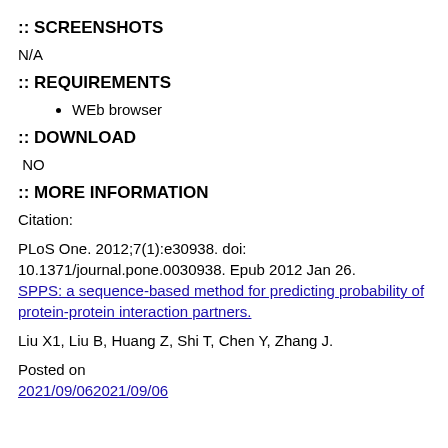:: SCREENSHOTS
N/A
:: REQUIREMENTS
WEb browser
:: DOWNLOAD
NO
:: MORE INFORMATION
Citation:
PLoS One. 2012;7(1):e30938. doi: 10.1371/journal.pone.0030938. Epub 2012 Jan 26.
SPPS: a sequence-based method for predicting probability of protein-protein interaction partners.
Liu X1, Liu B, Huang Z, Shi T, Chen Y, Zhang J.
Posted on
2021/09/062021/09/06